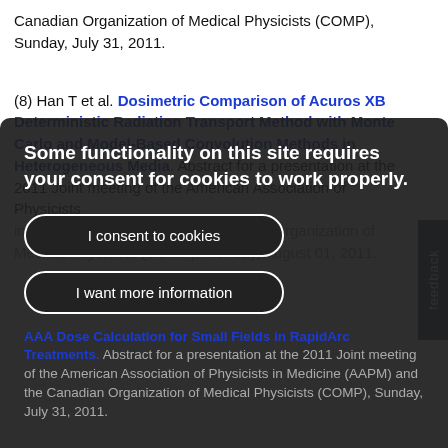Canadian Organization of Medical Physicists (COMP), Sunday, July 31, 2011.
(8) Han T et al. Dosimetric Comparison of Acuros XB Deterministic Radiation Transport Method with Monte Carlo and Model-Based Convolution Methods in Heterogeneous Media. Abstract for a presentation at the 2011 Joint meeting of the American Association of Physicists in Medicine (AAPM) and the Canadian Organization of Medical Physicists (COMP), Monday, August 01, 2011.
Some functionality on this site requires your consent for cookies to work properly.
I consent to cookies
I want more information
AAA Dose Calculation for Small Fields in RapidArc Treatments. Abstract for a presentation at the 2011 Joint meeting of the American Association of Physicists in Medicine (AAPM) and the Canadian Organization of Medical Physicists (COMP), Sunday, July 31, 2011.